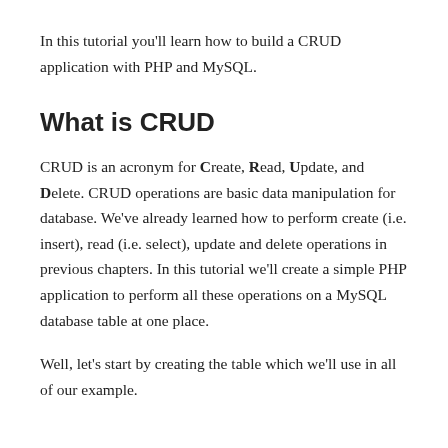In this tutorial you'll learn how to build a CRUD application with PHP and MySQL.
What is CRUD
CRUD is an acronym for Create, Read, Update, and Delete. CRUD operations are basic data manipulation for database. We've already learned how to perform create (i.e. insert), read (i.e. select), update and delete operations in previous chapters. In this tutorial we'll create a simple PHP application to perform all these operations on a MySQL database table at one place.
Well, let's start by creating the table which we'll use in all of our example.